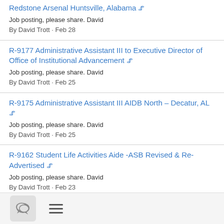Redstone Arsenal Huntsville, Alabama 📎
Job posting, please share. David
By David Trott · Feb 28
R-9177 Administrative Assistant III to Executive Director of Office of Institutional Advancement 📎
Job posting, please share. David
By David Trott · Feb 25
R-9175 Administrative Assistant III AIDB North – Decatur, AL 📎
Job posting, please share. David
By David Trott · Feb 25
R-9162 Student Life Activities Aide -ASB Revised & Re-Advertised 📎
Job posting, please share. David
By David Trott · Feb 23